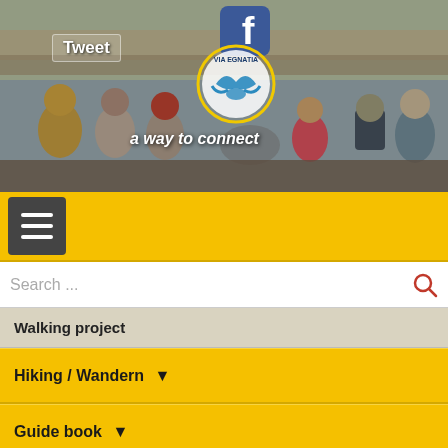[Figure (photo): Group of hikers standing in front of a rocky hillside. Facebook logo and Via Egnatia logo circle visible. Text 'Tweet' and 'a way to connect' overlaid on photo.]
Tweet
a way to connect
Search ...
Walking project
Hiking / Wandern ▼
Guide book ▼
B & B Albania
Accommodation
Via Egnatia by bike ▼
Via Egnatia trail Part II
Walkers experiences
Find company